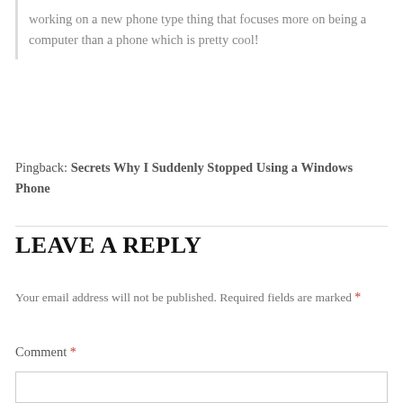working on a new phone type thing that focuses more on being a computer than a phone which is pretty cool!
Pingback: Secrets Why I Suddenly Stopped Using a Windows Phone
LEAVE A REPLY
Your email address will not be published. Required fields are marked *
Comment *